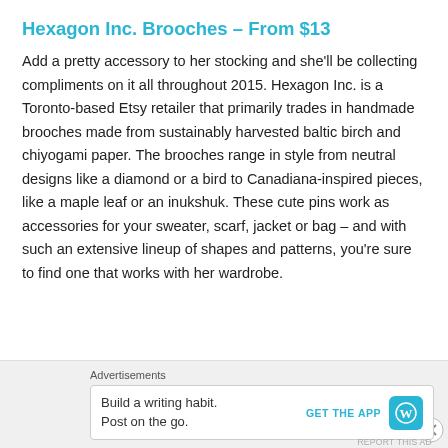Hexagon Inc. Brooches – From $13
Add a pretty accessory to her stocking and she'll be collecting compliments on it all throughout 2015. Hexagon Inc. is a Toronto-based Etsy retailer that primarily trades in handmade brooches made from sustainably harvested baltic birch and chiyogami paper. The brooches range in style from neutral designs like a diamond or a bird to Canadiana-inspired pieces, like a maple leaf or an inukshuk. These cute pins work as accessories for your sweater, scarf, jacket or bag – and with such an extensive lineup of shapes and patterns, you're sure to find one that works with her wardrobe.
Advertisements
Build a writing habit. Post on the go. GET THE APP